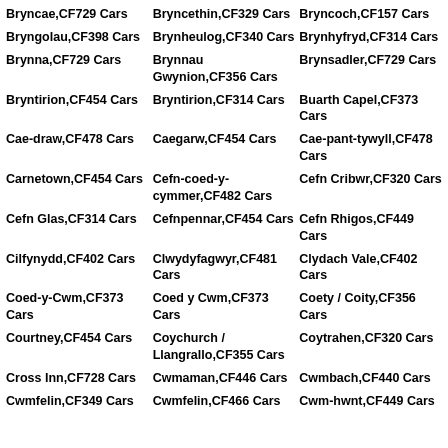Bryncae,CF729 Cars
Bryncethin,CF329 Cars
Bryncoch,CF157 Cars
Bryngolau,CF398 Cars
Brynheulog,CF340 Cars
Brynhyfryd,CF314 Cars
Brynna,CF729 Cars
Brynnau Gwynion,CF356 Cars
Brynsadler,CF729 Cars
Bryntirion,CF454 Cars
Bryntirion,CF314 Cars
Buarth Capel,CF373 Cars
Cae-draw,CF478 Cars
Caegarw,CF454 Cars
Cae-pant-tywyll,CF478 Cars
Carnetown,CF454 Cars
Cefn-coed-y-cymmer,CF482 Cars
Cefn Cribwr,CF320 Cars
Cefn Glas,CF314 Cars
Cefnpennar,CF454 Cars
Cefn Rhigos,CF449 Cars
Cilfynydd,CF402 Cars
Clwydyfagwyr,CF481 Cars
Clydach Vale,CF402 Cars
Coed-y-Cwm,CF373 Cars
Coed y Cwm,CF373 Cars
Coety / Coity,CF356 Cars
Courtney,CF454 Cars
Coychurch / Llangrallo,CF355 Cars
Coytrahen,CF320 Cars
Cross Inn,CF728 Cars
Cwmaman,CF446 Cars
Cwmbach,CF440 Cars
Cwmfelin,CF466 Cars
Cwm-hwnt,CF449 Cars